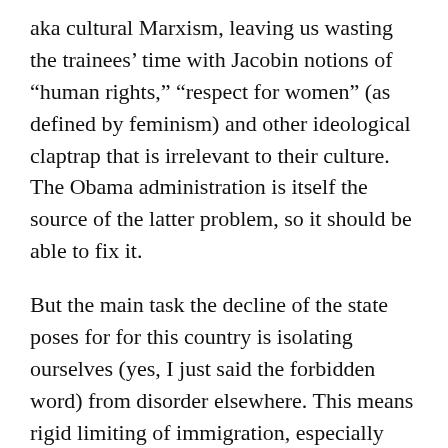aka cultural Marxism, leaving us wasting the trainees' time with Jacobin notions of “human rights,” “respect for women” (as defined by feminism) and other ideological claptrap that is irrelevant to their culture. The Obama administration is itself the source of the latter problem, so it should be able to fix it.
But the main task the decline of the state poses for for this country is isolating ourselves (yes, I just said the forbidden word) from disorder elsewhere. This means rigid limiting of immigration, especially those immigrants who claim “refugee” status (because they come from the areas of the worst disorder), preventing international sources of disorder